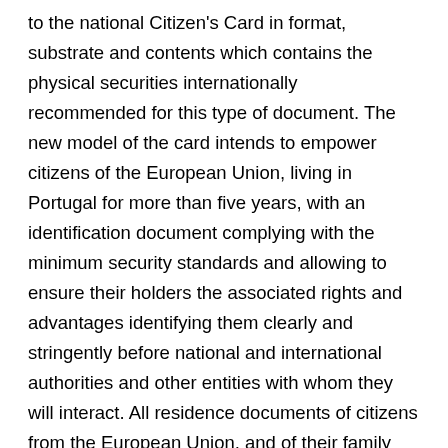to the national Citizen's Card in format, substrate and contents which contains the physical securities internationally recommended for this type of document. The new model of the card intends to empower citizens of the European Union, living in Portugal for more than five years, with an identification document complying with the minimum security standards and allowing to ensure their holders the associated rights and advantages identifying them clearly and stringently before national and international authorities and other entities with whom they will interact. All residence documents of citizens from the European Union, and of their family members, will present from now on a new standard format of an “ATM Card”